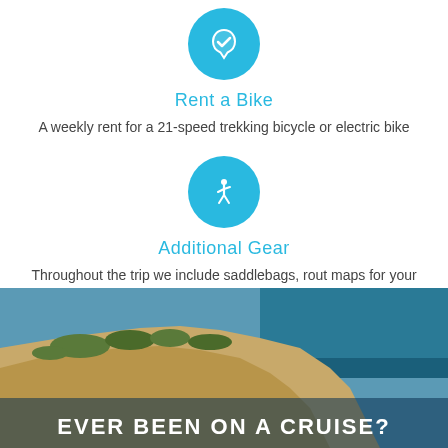[Figure (illustration): Blue circle with white shield/checkmark icon for Rent a Bike section]
Rent a Bike
A weekly rent for a 21-speed trekking bicycle or electric bike
[Figure (illustration): Blue circle with white walking person icon for Additional Gear section]
Additional Gear
Throughout the trip we include saddlebags, rout maps for your trails and snorkelling gear.
[Figure (photo): Coastal rocky cliffs with blue sea in the background and partial text 'EVER BEEN ON A CRUISE?' at the bottom]